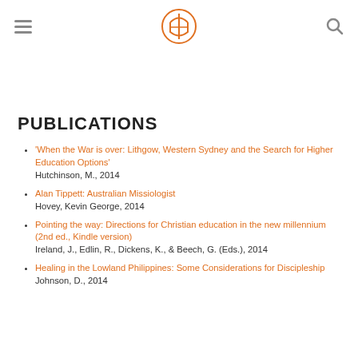[hamburger menu] [logo] [search icon]
PUBLICATIONS
'When the War is over: Lithgow, Western Sydney and the Search for Higher Education Options'
Hutchinson, M., 2014
Alan Tippett: Australian Missiologist
Hovey, Kevin George, 2014
Pointing the way: Directions for Christian education in the new millennium (2nd ed., Kindle version)
Ireland, J., Edlin, R., Dickens, K., & Beech, G. (Eds.), 2014
Healing in the Lowland Philippines: Some Considerations for Discipleship
Johnson, D., 2014